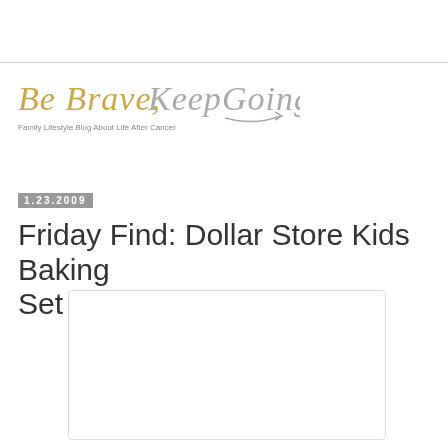[Figure (logo): Blog logo reading 'Be Brave, Keep Going' in cursive script with gold and gray colors, subtitle 'Family Lifestyle Blog About Life After Cancer']
1.23.2009
Friday Find: Dollar Store Kids Baking Set
[Figure (photo): Blank/white image placeholder with light gray border]
Another great find, this time at Dollar Tree. This kid's baking set is two part - the tools and the mat. Both were a dollar